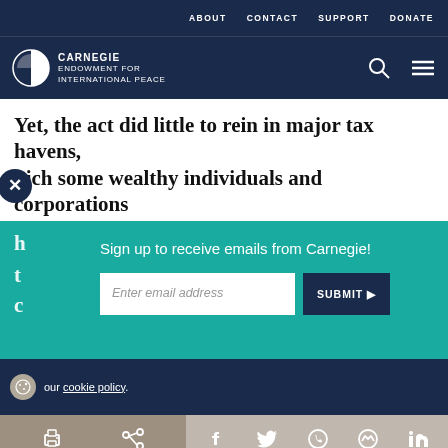ABOUT  CONTACT  SUPPORT  DONATE
[Figure (logo): Carnegie Endowment for International Peace logo with half-circle icon]
Yet, the act did little to rein in major tax havens, which some wealthy individuals and corporations h... t... c...
Sign up to receive emails from Carnegie!
Enter email address  SUBMIT
our cookie policy.
Print  Share  Facebook  Twitter  WhatsApp  Messenger  LinkedIn